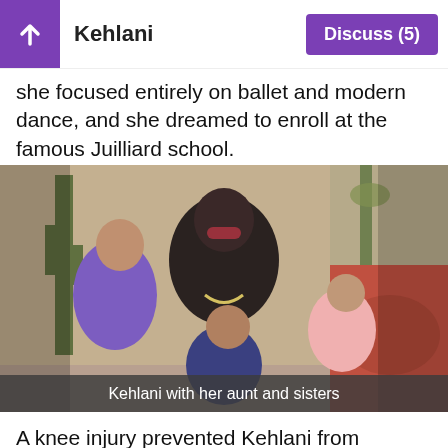Kehlani | Discuss (5)
she focused entirely on ballet and modern dance, and she dreamed to enroll at the famous Juilliard school.
[Figure (photo): Family photo showing Kehlani with her aunt and three sisters indoors, with plants and a floral couch in the background.]
Kehlani with her aunt and sisters
A knee injury prevented Kehlani from practicing further,